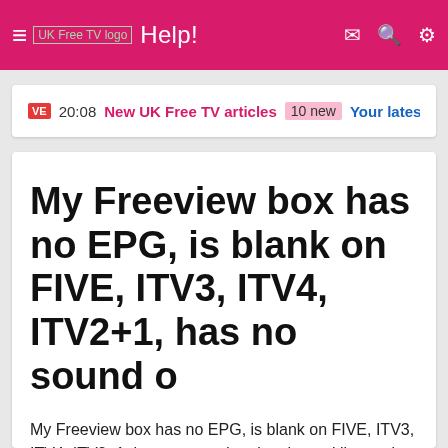≡ UK Free TV logo  Help!
VE 20:08 New UK Free TV articles 10 new Your latest co
My Freeview box has no EPG, is blank on FIVE, ITV3, ITV4, ITV2+1, has no sound o
My Freeview box has no EPG, is blank on FIVE, ITV3, ITV4, ITV2+1, has no sound or the channel line up is wrong